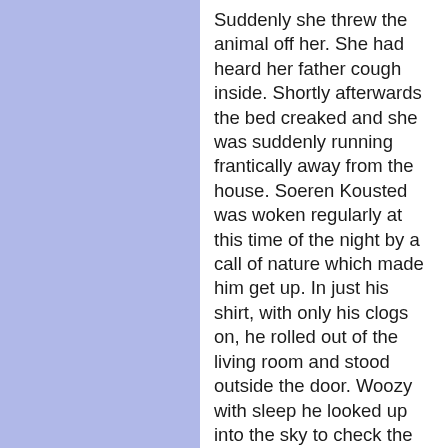Suddenly she threw the animal off her. She had heard her father cough inside. Shortly afterwards the bed creaked and she was suddenly running frantically away from the house. Soeren Kousted was woken regularly at this time of the night by a call of nature which made him get up. In just his shirt, with only his clogs on, he rolled out of the living room and stood outside the door. Woozy with sleep he looked up into the sky to check the weather. Seeing the many stars almost woke him up